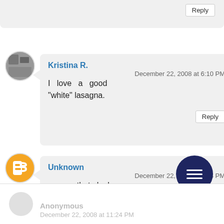Reply
Kristina R.
December 22, 2008 at 6:10 PM
I love a good "white" lasagna.
Reply
Unknown
December 22, 2008 at 7:54 PM
mmm, that looks delicious!!
Anonymous
December 22, 2008 at 11:24 PM